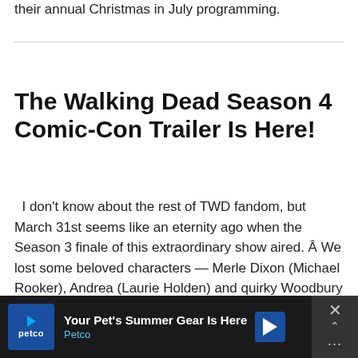their annual Christmas in July programming.
The Walking Dead Season 4 Comic-Con Trailer Is Here!
I don't know about the rest of TWD fandom, but March 31st seems like an eternity ago when the Season 3 finale of this extraordinary show aired. Â We lost some beloved characters — Merle Dixon (Michael Rooker), Andrea (Laurie Holden) and quirky Woodbury resident Milton Mamet (Dallas Roberts)...
[Figure (other): Advertisement banner for Petco: 'Your Pet's Summer Gear Is Here' with Petco logo and navigation arrow icon]